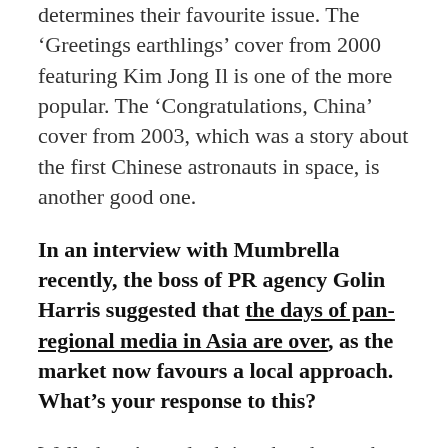Many people have a favourite cover and that determines their favourite issue. The 'Greetings earthlings' cover from 2000 featuring Kim Jong Il is one of the more popular. The 'Congratulations, China' cover from 2003, which was a story about the first Chinese astronauts in space, is another good one.
In an interview with Mumbrella recently, the boss of PR agency Golin Harris suggested that the days of pan-regional media in Asia are over, as the market now favours a local approach. What's your response to this?
Well, there's no doubting that the market is in decline. Looking at the number of business pages in the likes of The Economist, Time and Fortune, they fell by 10 per cent year on year between 2011